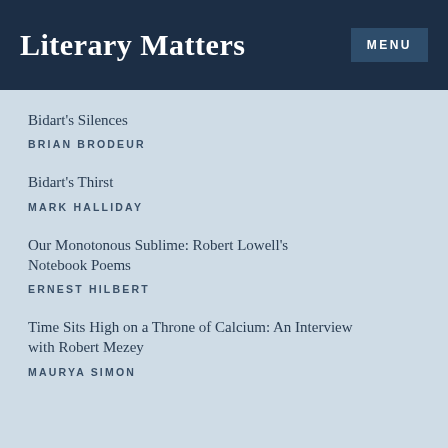Literary Matters
Bidart's Silences
BRIAN BRODEUR
Bidart's Thirst
MARK HALLIDAY
Our Monotonous Sublime: Robert Lowell's Notebook Poems
ERNEST HILBERT
Time Sits High on a Throne of Calcium: An Interview with Robert Mezey
MAURYA SIMON